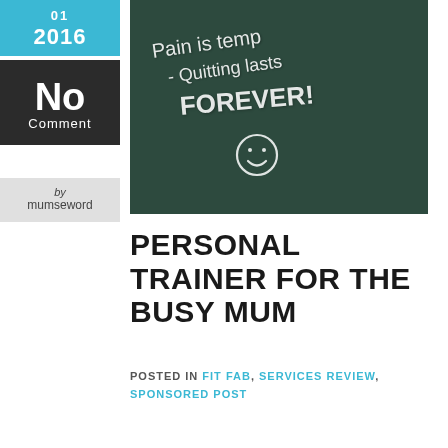01 2016
No Comment
by mumseword
[Figure (photo): Chalkboard with chalk writing: 'Pain is temp - Quitting lasts FOREVER!' with a smiley face drawn in chalk]
PERSONAL TRAINER FOR THE BUSY MUM
POSTED IN FIT FAB, SERVICES REVIEW, SPONSORED POST